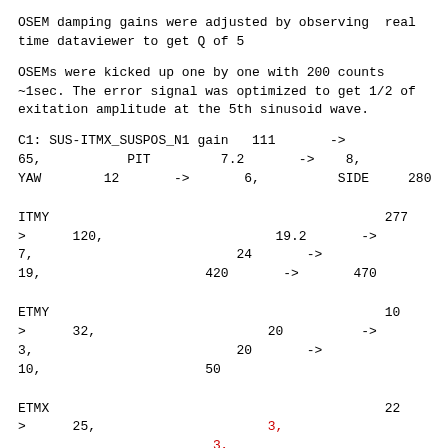OSEM damping gains were adjusted by observing  real
time dataviewer to get Q of 5
OSEMs were kicked up one by one with 200 counts
~1sec. The error signal was optimized to get 1/2 of
exitation amplitude at the 5th sinusoid wave.
C1: SUS-ITMX_SUSPOS_N1 gain   111       ->
65,           PIT         7.2       ->    8,
YAW        12       ->       6,          SIDE     280
ITMY                                           277         -
>      120,                      19.2       ->
7,                          24       ->
19,                     420       ->       470
ETMY                                           10          -
>      32,                      20          ->
3,                          20       ->
10,                     50
ETMX                                           22          -
>      25,                      3,
                         3,
                    -170